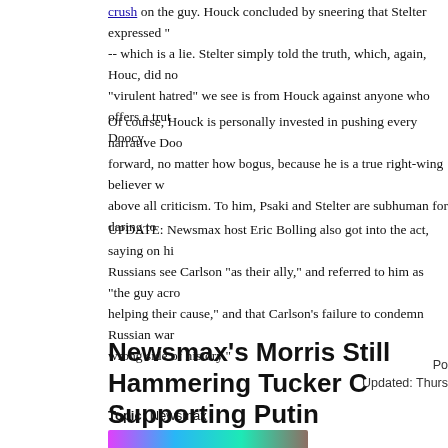crush on the guy. Houck concluded by sneering that Stelter expressed "-- which is a lie. Stelter simply told the truth, which, again, Houc, did not "virulent hatred" we see is from Houck against anyone who offers a truth Doocy.
Of course, Houck is personally invested in pushing every narrative Doo forward, no matter how bogus, because he is a true right-wing believer w above all criticism. To him, Psaki and Stelter are subhuman for daring to
UPDATE: Newsmax host Eric Bolling also got into the act, saying on hi Russians see Carlson "as their ally," and referred to him as "the guy acro helping their cause," and that Carlson's failure to condemn Russian war wrong side of history."
Po
Updated: Thurs
Newsmax's Morris Still Hammering Tucker C Supporting Putin
Topic: Newsmax
[Figure (photo): Colorful image strip at the bottom of the page]